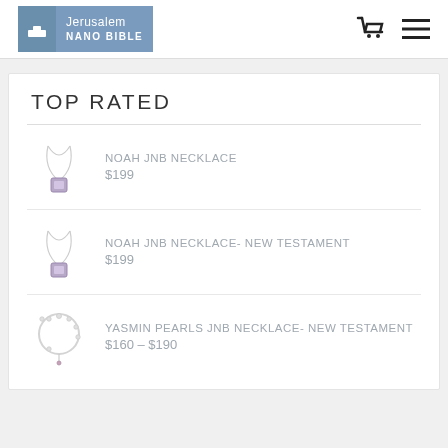Jerusalem Nano Bible
TOP RATED
NOAH JNB NECKLACE $199
NOAH JNB NECKLACE- NEW TESTAMENT $199
YASMIN PEARLS JNB NECKLACE- NEW TESTAMENT $160 – $190